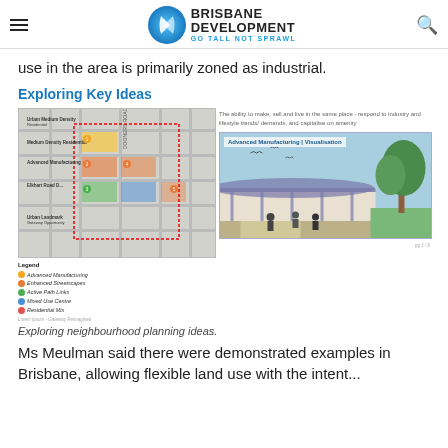BRISBANE DEVELOPMENT GO TALL NOT SPRAWL
use in the area is primarily zoned as industrial.
Exploring Key Ideas
[Figure (illustration): Left: Planning map showing neighbourhood zones with legend indicating Advanced Manufacturing, Enhanced Streetscapes, Active Path Links, Mixed Use Centre, Residential Mix. Right: Text about ability to make, sell and live in the same place, and a visualisation labelled 'Advanced Manufacturing | Visualisation' showing an outdoor covered walkway area with trees.]
Exploring neighbourhood planning ideas.
Ms Meulman said there were demonstrated examples in Brisbane, allowing flexible land use with the intent...